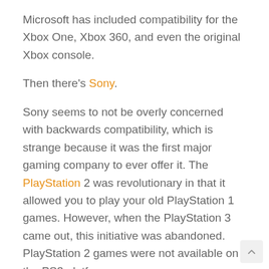Microsoft has included compatibility for the Xbox One, Xbox 360, and even the original Xbox console.
Then there's Sony.
Sony seems to not be overly concerned with backwards compatibility, which is strange because it was the first major gaming company to ever offer it. The PlayStation 2 was revolutionary in that it allowed you to play your old PlayStation 1 games. However, when the PlayStation 3 came out, this initiative was abandoned. PlayStation 2 games were not available on the PS3 platform.
Then the PlayStation 4 came out, and despite its massive popularity, you're still not able to play